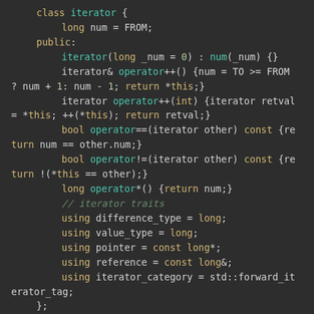[Figure (screenshot): C++ code snippet showing a class iterator definition with operator overloads and iterator traits, displayed in a dark-themed code editor with syntax highlighting.]